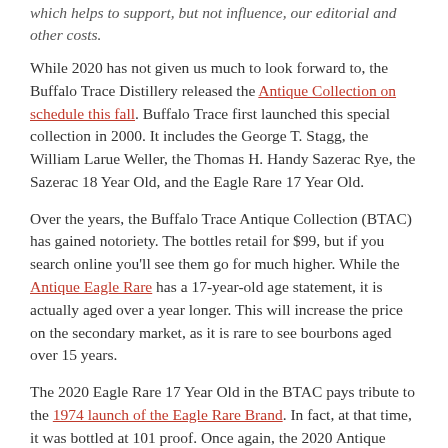which helps to support, but not influence, our editorial and other costs.
While 2020 has not given us much to look forward to, the Buffalo Trace Distillery released the Antique Collection on schedule this fall. Buffalo Trace first launched this special collection in 2000. It includes the George T. Stagg, the William Larue Weller, the Thomas H. Handy Sazerac Rye, the Sazerac 18 Year Old, and the Eagle Rare 17 Year Old.
Over the years, the Buffalo Trace Antique Collection (BTAC) has gained notoriety. The bottles retail for $99, but if you search online you'll see them go for much higher. While the Antique Eagle Rare has a 17-year-old age statement, it is actually aged over a year longer. This will increase the price on the secondary market, as it is rare to see bourbons aged over 15 years.
The 2020 Eagle Rare 17 Year Old in the BTAC pays tribute to the 1974 launch of the Eagle Rare Brand. In fact, at that time, it was bottled at 101 proof. Once again, the 2020 Antique Eagle Rare goes back to its roots at the same proof. Similarly, the 17-year-old Eagle Rare is mellow like the Antique Sazerac 18 Year Old. In the 2020 BTAC, it ranks fifth, but I would